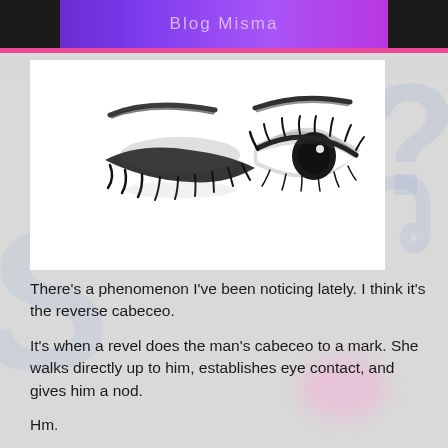Blog Misma
[Figure (illustration): Black and white pencil sketch of a pair of eyes — the left eye is closed (downcast lashes) and the right eye is open with bold eyebrows and dark eye shadow/liner.]
There's a phenomenon I've been noticing lately. I think it's the reverse cabeceo.
It's when a revel does the man's cabeceo to a mark. She walks directly up to him, establishes eye contact, and gives him a nod.
Hm.